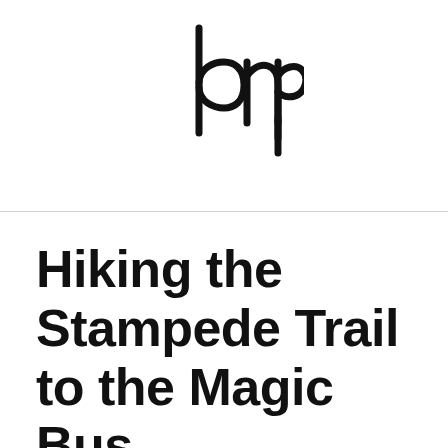[Figure (logo): DMP logo - stylized letters d, m, p in a geometric sans-serif style with vertical strokes extending above and below]
Hiking the Stampede Trail to the Magic Bus
October 11, 2015